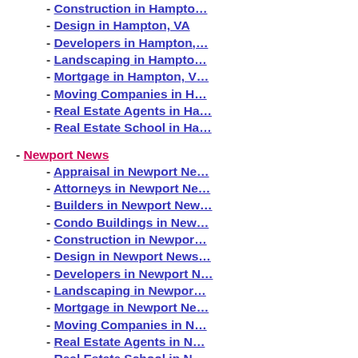- Construction in Hampton, VA
- Design in Hampton, VA
- Developers in Hampton, VA
- Landscaping in Hampton, VA
- Mortgage in Hampton, VA
- Moving Companies in Hampton, VA
- Real Estate Agents in Hampton, VA
- Real Estate School in Hampton, VA
- Newport News
- Appraisal in Newport News
- Attorneys in Newport News
- Builders in Newport News
- Condo Buildings in Newport News
- Construction in Newport News
- Design in Newport News
- Developers in Newport News
- Landscaping in Newport News
- Mortgage in Newport News
- Moving Companies in Newport News
- Real Estate Agents in Newport News
- Real Estate School in Newport News
- Norfolk
- Appraisal in Norfolk, VA
- Attorneys in Norfolk, VA
- Builders in Norfolk, VA
- Condo Buildings in Norfolk, VA
- Construction in Norfolk, VA
- Design in Norfolk, VA